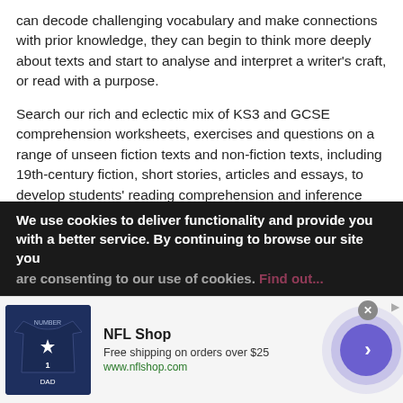can decode challenging vocabulary and make connections with prior knowledge, they can begin to think more deeply about texts and start to analyse and interpret a writer's craft, or read with a purpose.
Search our rich and eclectic mix of KS3 and GCSE comprehension worksheets, exercises and questions on a range of unseen fiction texts and non-fiction texts, including 19th-century fiction, short stories, articles and essays, to develop students' reading comprehension and inference skills.
Our KS3 comprehension teaching pack is an ideal introduction during transition for year 7-8 students, with text extracts, comprehension questions and
We use cookies to deliver functionality and provide you with a better service. By continuing to browse our site you are consenting to our use of cookies. Find out...
[Figure (infographic): NFL Shop advertisement banner with jersey image, shop name, free shipping offer, website URL, and a purple circular arrow button]